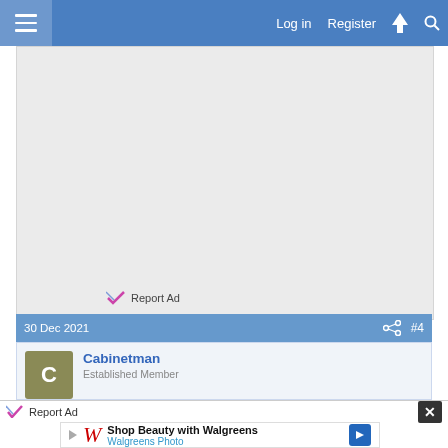Log in  Register
[Figure (screenshot): Advertisement placeholder area (gray background)]
Report Ad
30 Dec 2021  #4
Cabinetman
Established Member
Report Ad
[Figure (screenshot): Walgreens advertisement: Shop Beauty with Walgreens / Walgreens Photo]